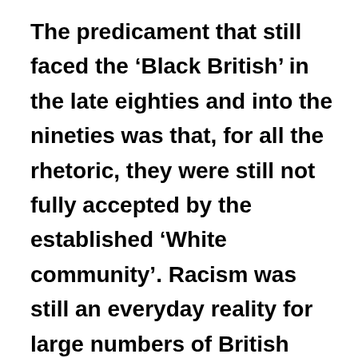The predicament that still faced the ‘Black British’ in the late eighties and into the nineties was that, for all the rhetoric, they were still not fully accepted by the established ‘White community’. Racism was still an everyday reality for large numbers of British people. There was plenty of evidence of the ways in which Black people were systematically denied access to employment in all sections of